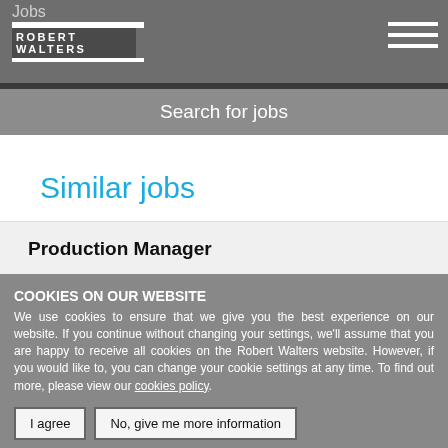Jobs
[Figure (logo): Robert Walters logo with white bars and text on grey background]
Search for jobs
Similar jobs
Production Manager
COOKIES ON OUR WEBSITE
We use cookies to ensure that we give you the best experience on our website. If you continue without changing your settings, we'll assume that you are happy to receive all cookies on the Robert Walters website. However, if you would like to, you can change your cookie settings at any time. To find out more, please view our cookies policy.
I agree | No, give me more information